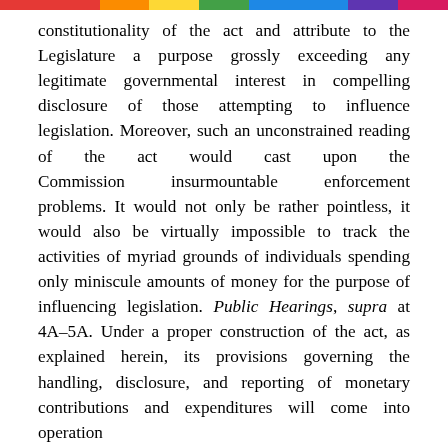constitutionality of the act and attribute to the Legislature a purpose grossly exceeding any legitimate governmental interest in compelling disclosure of those attempting to influence legislation. Moreover, such an unconstrained reading of the act would cast upon the Commission insurmountable enforcement problems. It would not only be rather pointless, it would also be virtually impossible to track the activities of myriad grounds of individuals spending only miniscule amounts of money for the purpose of influencing legislation. Public Hearings, supra at 4A–5A. Under a proper construction of the act, as explained herein, its provisions governing the handling, disclosure, and reporting of monetary contributions and expenditures will come into operation
[82 N.J. 84]
only with respect to political information organizations who exceed the verbal threshold of receiving and expending substantial sums of